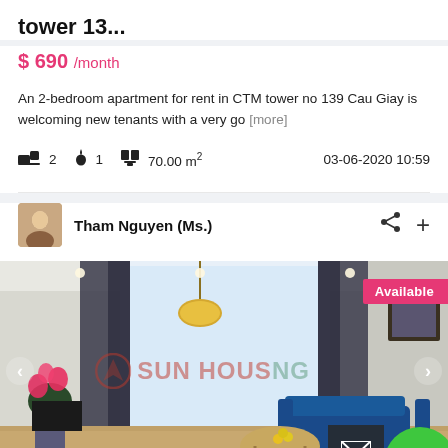tower 13...
$ 690 /month
An 2-bedroom apartment for rent in CTM tower no 139 Cau Giay is welcoming new tenants with a very go [more]
2  1  70.00 m²  03-06-2020 10:59
Tham Nguyen (Ms.)
[Figure (photo): Interior photo of a modern apartment living room with blue sofa, round coffee table, pink flowers, gold pendant light, large windows with dark curtains, and a framed painting on the wall. Sun Housing watermark visible. Available badge in top right.]
ID: 55475